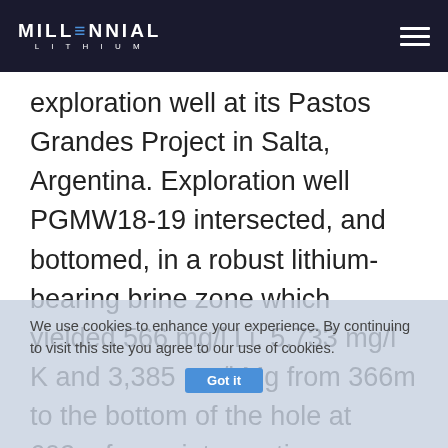MILLENNIAL LITHIUM
exploration well at its Pastos Grandes Project in Salta, Argentina. Exploration well PGMW18-19 intersected, and bottomed, in a robust lithium-bearing brine zone which yielded 566 mg/l Li, 5,733 mg/l K and 3,385 mg/l Mg from 366m to the bottom of the hole at 602m for an intersection thickness of 236m.
Millennial President and CEO, Farhad Abasov, commented:  “We are very encouraged to see that additional drilling on the eastern portion of the PEMSA
We use cookies to enhance your experience. By continuing to visit this site you agree to our use of cookies.